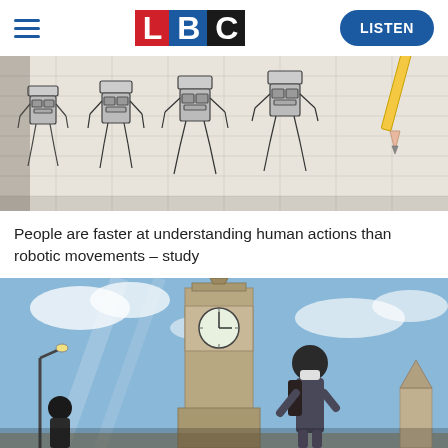LBC — LISTEN
[Figure (photo): Sketch drawings of humanoid robots on graph paper, with a pencil visible at the right edge]
People are faster at understanding human actions than robotic movements – study
[Figure (photo): Big Ben clock tower in London with a person wearing a face mask and carrying a backpack in the foreground, blue sky with clouds]